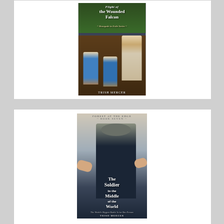[Figure (illustration): Book cover for 'Flight of the Wounded Falcon' by Trish Mercer, part of the Renegade in Exile series. Shows an older man playing with two young children outdoors in a wooded setting.]
[Figure (illustration): Book cover for 'The Soldier in the Middle of the World' by Trish Mercer, Book Seven of the Forest at the Edge series. Shows the back of a boy in a dark jacket with hands on his shoulders.]